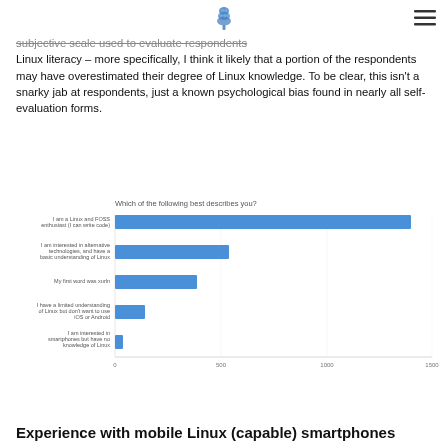[logo and hamburger menu]
subjective scale used to evaluate respondents Linux literacy – more specifically, I think it likely that a portion of the respondents may have overestimated their degree of Linux knowledge. To be clear, this isn't a snarky jab at respondents, just a known psychological bias found in nearly all self-evaluation forms.
[Figure (bar-chart): Which of the following best describes you?]
Experience with mobile Linux (capable) smartphones